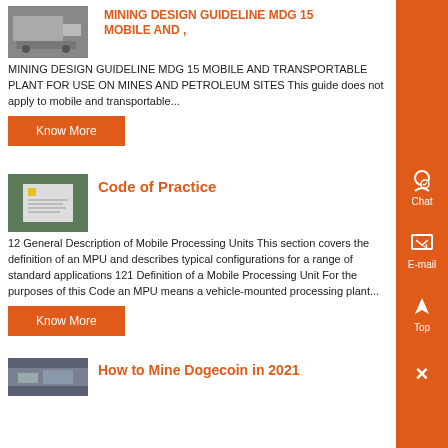[Figure (photo): Industrial mining equipment, grayscale photo]
MINING DESIGN GUIDELINE MDG 15 MOBILE AND ,
MINING DESIGN GUIDELINE MDG 15 MOBILE AND TRANSPORTABLE PLANT FOR USE ON MINES AND PETROLEUM SITES This guide does not apply to mobile and transportable...
Know More
[Figure (photo): Mining document or permit with yellow sticker, on green surface]
Code of Practice
12 General Description of Mobile Processing Units This section covers the definition of an MPU and describes typical configurations for a range of standard applications 121 Definition of a Mobile Processing Unit For the purposes of this Code an MPU means a vehicle-mounted processing plant...
Know More
[Figure (photo): Mining scene with heavy equipment]
How to Mine Dogecoin in 2021